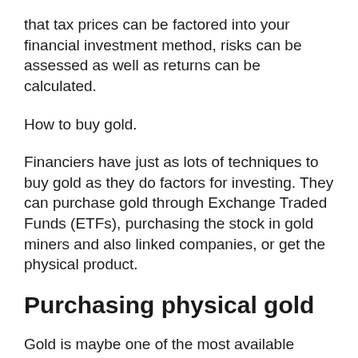that tax prices can be factored into your financial investment method, risks can be assessed as well as returns can be calculated.
How to buy gold.
Financiers have just as lots of techniques to buy gold as they do factors for investing. They can purchase gold through Exchange Traded Funds (ETFs), purchasing the stock in gold miners and also linked companies, or get the physical product.
Purchasing physical gold
Gold is maybe one of the most available product to the average financier. The actual